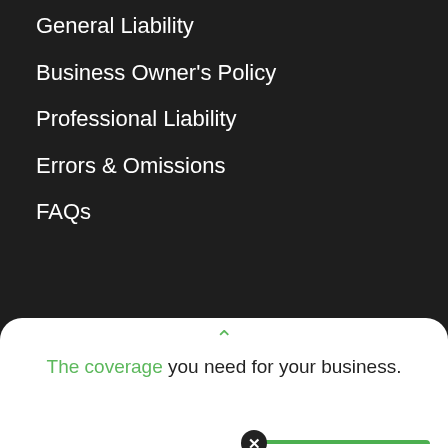General Liability
Business Owner's Policy
Professional Liability
Errors & Omissions
FAQs
[Figure (infographic): Google Rating popup widget showing 4.4 stars out of 5, with orange star icons, on a white card with green top border and a close button]
Insurance by Industry
Login
Our Insurance Carriers
Compensation Disclosure Statement
The coverage you need for your business.